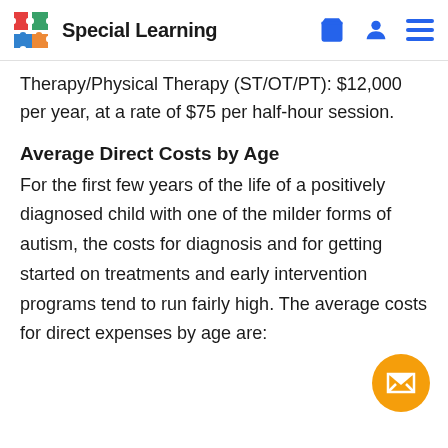Special Learning
Therapy/Physical Therapy (ST/OT/PT): $12,000 per year, at a rate of $75 per half-hour session.
Average Direct Costs by Age
For the first few years of the life of a positively diagnosed child with one of the milder forms of autism, the costs for diagnosis and for getting started on treatments and early intervention programs tend to run fairly high. The average costs for direct expenses by age are: